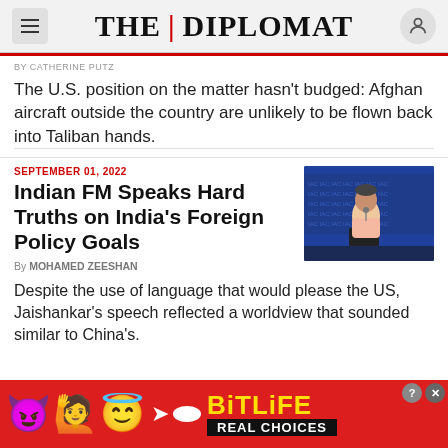THE DIPLOMAT
BY CATHERINE PUTZ
The U.S. position on the matter hasn't budged: Afghan aircraft outside the country are unlikely to be flown back into Taliban hands.
SEPTEMBER 01, 2022
Indian FM Speaks Hard Truths on India's Foreign Policy Goals
By MOHAMED ZEESHAN
[Figure (photo): Indian Foreign Minister Jaishankar speaking at a podium with microphones, in front of a blue backdrop with repeated logos]
Despite the use of language that would please the US, Jaishankar's speech reflected a worldview that sounded similar to China's.
[Figure (infographic): BitLife advertisement banner with devil emoji, woman emoji, halo emoji, sperm icon, BitLife logo in yellow, and REAL CHOICES text on black background]